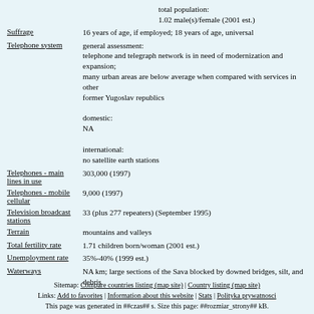total population:
1.02 male(s)/female (2001 est.)
Suffrage: 16 years of age, if employed; 18 years of age, universal
Telephone system: general assessment: telephone and telegraph network is in need of modernization and expansion; many urban areas are below average when compared with services in other former Yugoslav republics
domestic:
NA
international:
no satellite earth stations
Telephones - main lines in use: 303,000 (1997)
Telephones - mobile cellular: 9,000 (1997)
Television broadcast stations: 33 (plus 277 repeaters) (September 1995)
Terrain: mountains and valleys
Total fertility rate: 1.71 children born/woman (2001 est.)
Unemployment rate: 35%-40% (1999 est.)
Waterways: NA km; large sections of the Sava blocked by downed bridges, silt, and debris
Sitemap: Compare countries listing (map site) | Country listing (map site)
Links: Add to favorites | Information about this website | Stats | Polityka prywatnosci
This page was generated in ##czas## s. Size this page: ##rozmiar_strony## kB.